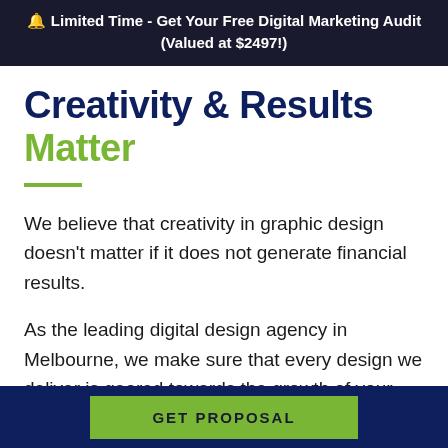🔔 Limited Time - Get Your Free Digital Marketing Audit (Valued at $2497!)
Creativity & Results Matter
We believe that creativity in graphic design doesn't matter if it does not generate financial results.
As the leading digital design agency in Melbourne, we make sure that every design we deliver is geared towards the growth of your business. Whether it's through sales, leads or traffic
GET PROPOSAL